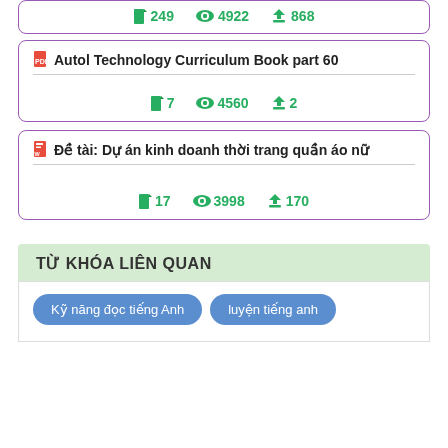249 pages, 4922 views, 868 downloads (partial card top)
Autol Technology Curriculum Book part 60 — 7 pages, 4560 views, 2 downloads
Đề tài: Dự án kinh doanh thời trang quần áo nữ — 17 pages, 3998 views, 170 downloads
TỪ KHÓA LIÊN QUAN
Kỹ năng đọc tiếng Anh
luyện tiếng anh